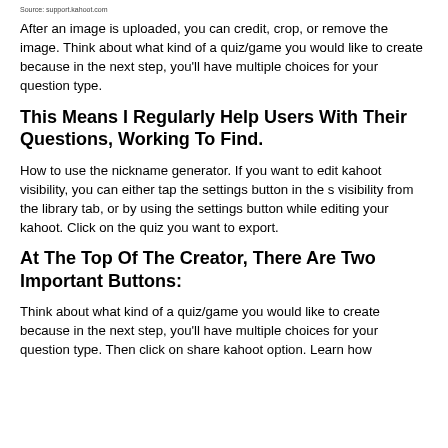Source: support.kahoot.com
After an image is uploaded, you can credit, crop, or remove the image. Think about what kind of a quiz/game you would like to create because in the next step, you'll have multiple choices for your question type.
This Means I Regularly Help Users With Their Questions, Working To Find.
How to use the nickname generator. If you want to edit kahoot visibility, you can either tap the settings button in the s visibility from the library tab, or by using the settings button while editing your kahoot. Click on the quiz you want to export.
At The Top Of The Creator, There Are Two Important Buttons:
Think about what kind of a quiz/game you would like to create because in the next step, you'll have multiple choices for your question type. Then click on share kahoot option. Learn how